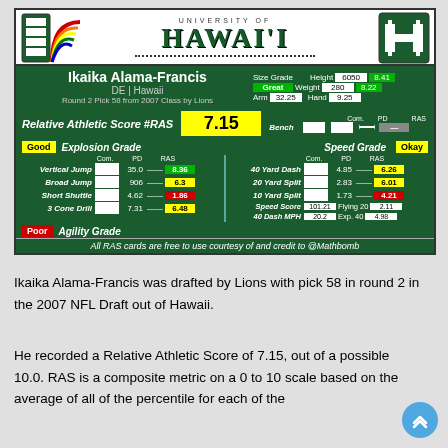[Figure (infographic): University of Hawaii RAS card for Ikaika Alama-Francis, DE, showing size grade (Great), RAS score 7.15, explosion grade (Good), speed grade (Okay), agility grade (Poor), and athletic metrics including vertical jump 35.0/8.36 RAS, broad jump 906/6.3 RAS, short shuttle 4.62/1.86 RAS, 3 cone drill 7.31/6.48 RAS, 40 yard dash 4.85/6.26 RAS, 20 yard split 2.83/6.01 RAS, 10 yard split 1.73/4.21 RAS, speed score 101.21, flying 20 2.11, 40 dash MPH 20.2, exp. 40 4.98]
Ikaika Alama-Francis was drafted by Lions with pick 58 in round 2 in the 2007 NFL Draft out of Hawaii.
He recorded a Relative Athletic Score of 7.15, out of a possible 10.0. RAS is a composite metric on a 0 to 10 scale based on the average of all of the percentile for each of the